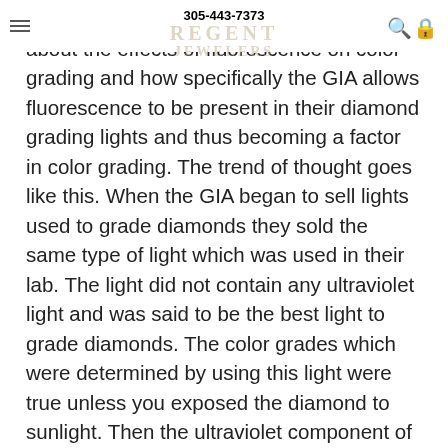305-443-7373 | REGENT JEWELERS
fluorescence and has began to be more about the effects of fluorescence on color grading and how specifically the GIA allows fluorescence to be present in their diamond grading lights and thus becoming a factor in color grading. The trend of thought goes like this. When the GIA began to sell lights used to grade diamonds they sold the same type of light which was used in their lab. The light did not contain any ultraviolet light and was said to be the best light to grade diamonds. The color grades which were determined by using this light were true unless you exposed the diamond to sunlight. Then the ultraviolet component of sunlight would make diamonds with medium to very strong fluorescence look whiter. Therefore, fluorescence was thought of as a good thing. As you could buy a diamond which was graded H in color and if it had medium to strong